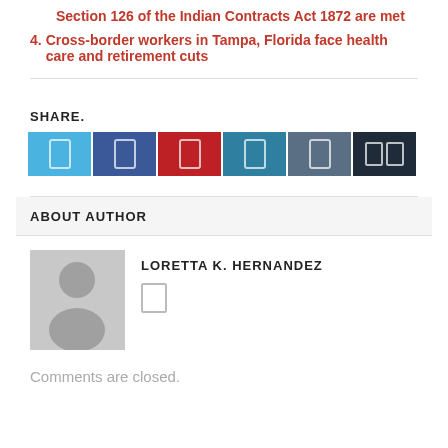Section 126 of the Indian Contracts Act 1872 are met
4. Cross-border workers in Tampa, Florida face health care and retirement cuts
SHARE.
[Figure (other): Social share buttons: Twitter (blue), Facebook (dark blue), Pinterest (red), LinkedIn (teal), Tumblr (slate), and a more/share button (dark navy)]
ABOUT AUTHOR
[Figure (photo): Generic grey placeholder avatar of a person silhouette]
LORETTA K. HERNANDEZ
Comments are closed.